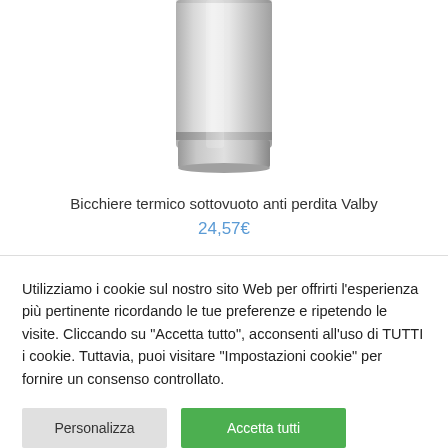[Figure (photo): Stainless steel vacuum insulated thermos/tumbler bottle, silver metallic color, shown from below the lid area down to the base]
Bicchiere termico sottovuoto anti perdita Valby
24,57€
Utilizziamo i cookie sul nostro sito Web per offrirti l'esperienza più pertinente ricordando le tue preferenze e ripetendo le visite. Cliccando su "Accetta tutto", acconsenti all'uso di TUTTI i cookie. Tuttavia, puoi visitare "Impostazioni cookie" per fornire un consenso controllato.
Personalizza
Accetta tutti